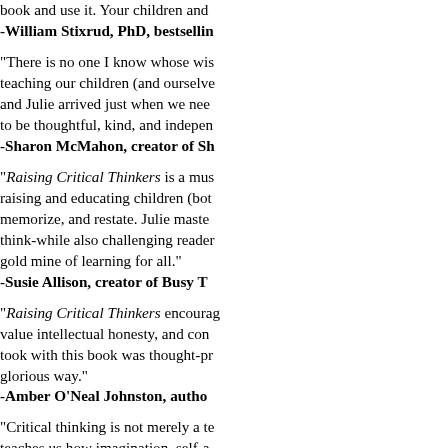book and use it. Your children and
-William Stixrud, PhD, bestsellin
"There is no one I know whose wis teaching our children (and ourselv and Julie arrived just when we nee to be thoughtful, kind, and indepen
-Sharon McMahon, creator of Sh
"Raising Critical Thinkers is a mus raising and educating children (bot memorize, and restate. Julie maste think-while also challenging reader gold mine of learning for all."
-Susie Allison, creator of Busy T
"Raising Critical Thinkers encourag value intellectual honesty, and con took with this book was thought-pr glorious way."
-Amber O'Neal Johnston, autho
"Critical thinking is not merely a te teaches us how imagination, self-a possible. These are crucial lessons